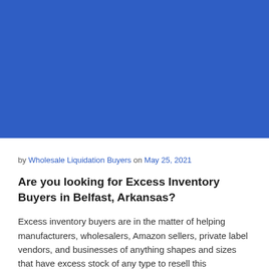[Figure (photo): Solid blue rectangle placeholder image]
by Wholesale Liquidation Buyers on May 25, 2021
Are you looking for Excess Inventory Buyers in Belfast, Arkansas?
Excess inventory buyers are in the matter of helping manufacturers, wholesalers, Amazon sellers, private label vendors, and businesses of anything shapes and sizes that have excess stock of any type to resell this